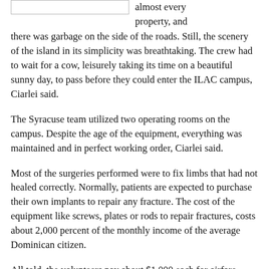almost every property, and there was garbage on the side of the roads. Still, the scenery of the island in its simplicity was breathtaking. The crew had to wait for a cow, leisurely taking its time on a beautiful sunny day, to pass before they could enter the ILAC campus, Ciarlei said.
The Syracuse team utilized two operating rooms on the campus. Despite the age of the equipment, everything was maintained and in perfect working order, Ciarlei said.
Most of the surgeries performed were to fix limbs that had not healed correctly. Normally, patients are expected to purchase their own implants to repair any fracture. The cost of the equipment like screws, plates or rods to repair fractures, costs about 2,000 percent of the monthly income of the average Dominican citizen.
All told, the volunteers pay about $1,000 each for airfare, food and lodging and other expenses. Some of the doctors have donated additional money to the program, though much of the equipment is donated. Many of the plates and rods that were used in the surgeries to help limbs heal were considered expired by U.S. medical standards even though they were in perfectly acceptable condition.